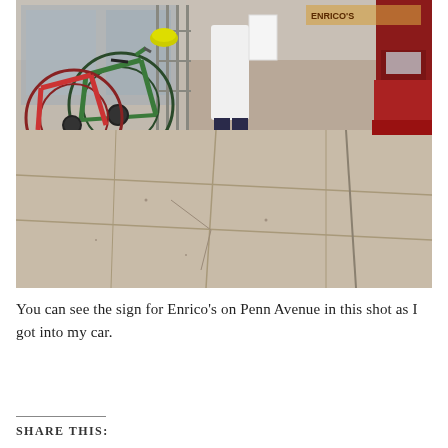[Figure (photo): Street-level photograph of a sidewalk. On the left, bicycles are locked to a metal railing or fence outside a building with large windows. A person wearing a white coat and dark pants stands on the sidewalk, partially visible from the waist down. A red vehicle is parked at the right edge. The sidewalk is made of large concrete slabs. The sign for Enrico's on Penn Avenue is partially visible in the image.]
You can see the sign for Enrico's on Penn Avenue in this shot as I got into my car.
SHARE THIS: